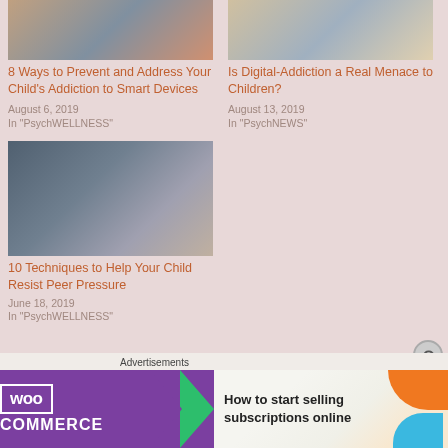[Figure (photo): Children using smartphones, cropped top portion visible]
8 Ways to Prevent and Address Your Child's Addiction to Smart Devices
August 6, 2019
In "PsychWELLNESS"
[Figure (photo): Children or people with tablets/books, cropped top portion visible]
Is Digital-Addiction a Real Menace to Children?
August 13, 2019
In "PsychNEWS"
[Figure (photo): Group of teenagers using phones, peer pressure scene]
10 Techniques to Help Your Child Resist Peer Pressure
June 18, 2019
In "PsychWELLNESS"
Advertisements
[Figure (screenshot): WooCommerce advertisement banner: How to start selling subscriptions online]